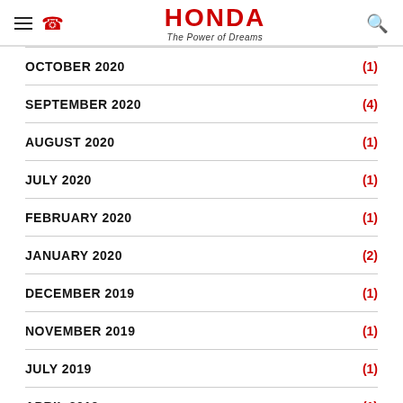HONDA The Power of Dreams
OCTOBER 2020 (1)
SEPTEMBER 2020 (4)
AUGUST 2020 (1)
JULY 2020 (1)
FEBRUARY 2020 (1)
JANUARY 2020 (2)
DECEMBER 2019 (1)
NOVEMBER 2019 (1)
JULY 2019 (1)
APRIL 2019 (1)